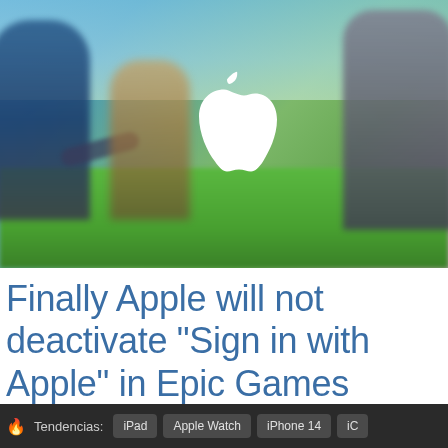[Figure (photo): Blurred Fortnite game screenshot with characters in the background and a large white Apple logo overlaid in the center]
Finally Apple will not deactivate "Sign in with Apple" in Epic Games accounts
🔥 Tendencias: iPad  Apple Watch  iPhone 14  iC